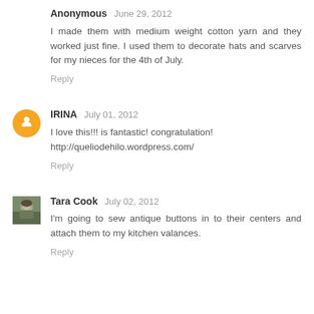Anonymous  June 29, 2012
I made them with medium weight cotton yarn and they worked just fine. I used them to decorate hats and scarves for my nieces for the 4th of July.
Reply
IRINA  July 01, 2012
I love this!!! is fantastic! congratulation!
http://queliodehilo.wordpress.com/
Reply
Tara Cook  July 02, 2012
I'm going to sew antique buttons in to their centers and attach them to my kitchen valances.
Reply